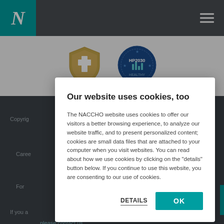N [NACCHO logo] ☰
[Figure (logo): Two badges/logos visible: a shield/cross badge and a circular HP2030 Healthy People badge]
Our website uses cookies, too
The NACCHO website uses cookies to offer our visitors a better browsing experience, to analyze our website traffic, and to present personalized content; cookies are small data files that are attached to your computer when you visit websites. You can read about how we use cookies by clicking on the "details" button below. If you continue to use this website, you are consenting to our use of cookies.
DETAILS   OK
Copyright   Careers   For...   If you a...   please contact us